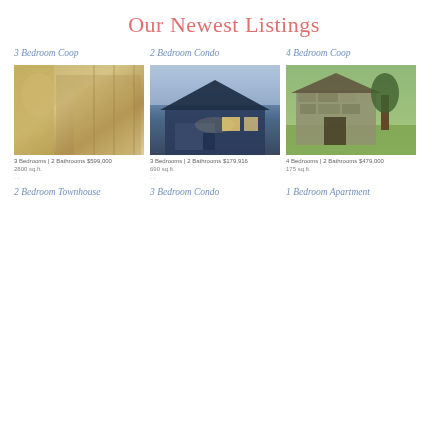Our Newest Listings
3 Bedroom Coop
[Figure (photo): Interior hallway with warm lighting and large windows]
3 Bedrooms | 2 Bathrooms $599,000 | 2800 sq.ft.
2 Bedroom Condo
[Figure (photo): Exterior of a two-story house at dusk with garage]
3 Bedrooms | 2 Bathrooms $179,916 | 690 sq.ft.
4 Bedroom Coop
[Figure (photo): Old stone cottage with thatched roof]
4 Bedrooms | 2 Bathrooms $479,000 | 175 sq.ft.
2 Bedroom Townhouse
3 Bedroom Condo
1 Bedroom Apartment